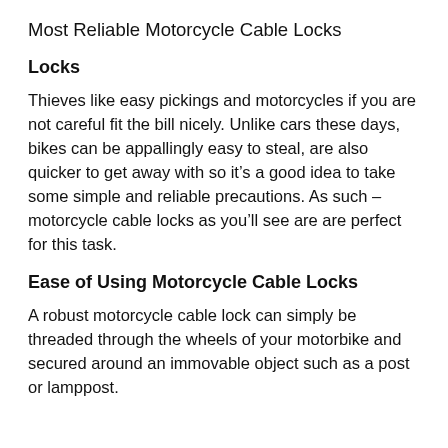Most Reliable Motorcycle Cable Locks
Locks
Thieves like easy pickings and motorcycles if you are not careful fit the bill nicely. Unlike cars these days, bikes can be appallingly easy to steal, are also quicker to get away with so it’s a good idea to take some simple and reliable precautions. As such – motorcycle cable locks as you’ll see are are perfect for this task.
Ease of Using Motorcycle Cable Locks
A robust motorcycle cable lock can simply be threaded through the wheels of your motorbike and secured around an immovable object such as a post or lamppost.